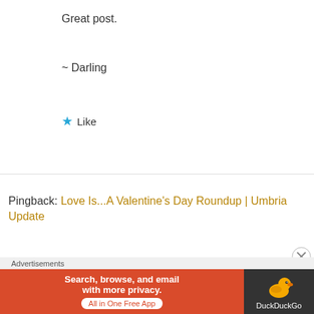Great post.
~ Darling
★ Like
Pingback: Love Is...A Valentine's Day Roundup | Umbria Update
[Figure (photo): Circular avatar photo of a flower (gaillardia/blanket flower) with red-orange petals and yellow tips on a green background]
Midwestern Plant Girl
FEBRUARY 14, 2014 AT 1:11 PM
Advertisements
[Figure (screenshot): DuckDuckGo advertisement: 'Search, browse, and email with more privacy. All in One Free App' on orange background with DuckDuckGo logo on dark background]